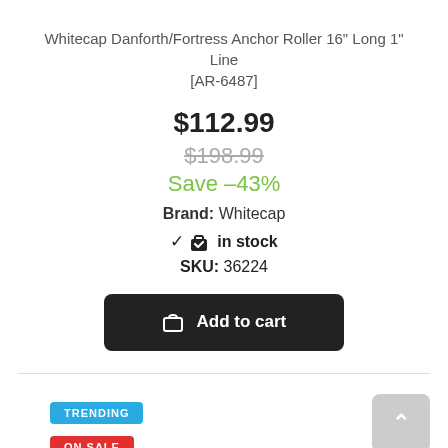Whitecap Danforth/Fortress Anchor Roller 16" Long 1" Line [AR-6487]
$112.99
$198.99
Save –43%
Brand: Whitecap
✔ in stock
SKU: 36224
Add to cart
TRENDING
ON SALE